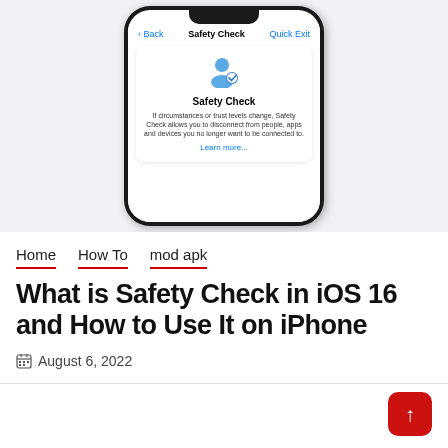[Figure (screenshot): iPhone screenshot showing the Safety Check feature in iOS. The phone screen displays a navigation bar with Back and Quick Exit links, and a card with a user icon, title 'Safety Check', description text, and a 'Learn more...' link.]
Home
How To
mod apk
What is Safety Check in iOS 16 and How to Use It on iPhone
August 6, 2022